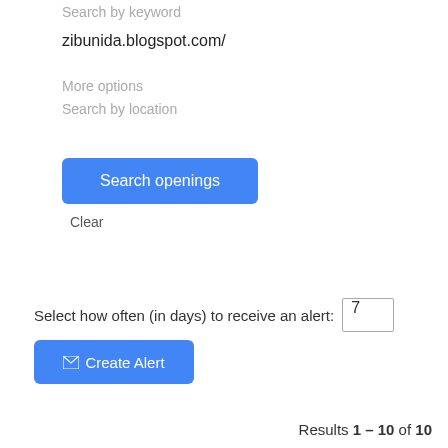Search by keyword
zibunida.blogspot.com/
More options
Search by location
Search openings
Clear
Select how often (in days) to receive an alert: 7
Create Alert
Results 1 – 10 of 10